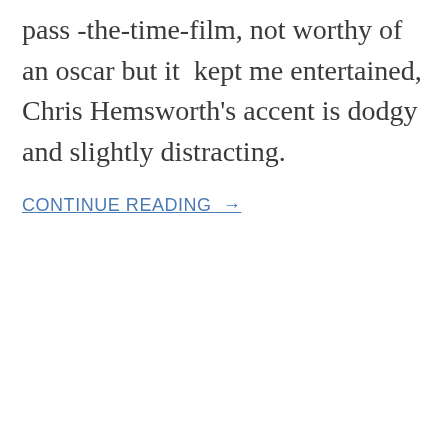pass -the-time-film, not worthy of an oscar but it  kept me entertained, Chris Hemsworth's accent is dodgy and slightly distracting.
CONTINUE READING →